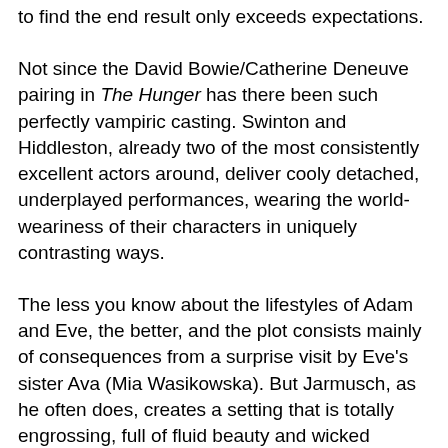to find the end result only exceeds expectations.
Not since the David Bowie/Catherine Deneuve pairing in The Hunger has there been such perfectly vampiric casting. Swinton and Hiddleston, already two of the most consistently excellent actors around, deliver cooly detached, underplayed performances, wearing the world- weariness of their characters in uniquely contrasting ways.
The less you know about the lifestyles of Adam and Eve, the better, and the plot consists mainly of consequences from a surprise visit by Eve's sister Ava (Mia Wasikowska). But Jarmusch, as he often does, creates a setting that is totally engrossing, full of fluid beauty and wicked humor.
His camera lingers in dark corners and high ceilings, swimming in waves of sublime production design, evocative music and mood lighting that is subtle perfection. This is a master class in style and atmosphere, precise in every detail and hard to resist.